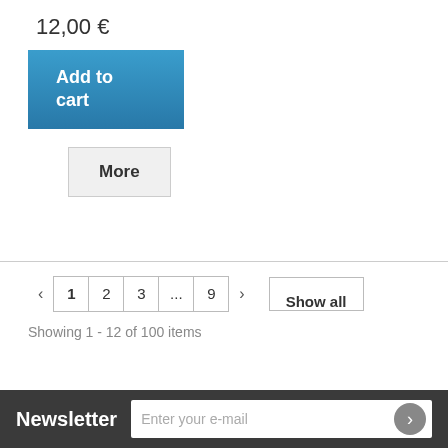12,00 €
Add to cart
More
1 2 3 ... 9  Show all
Showing 1 - 12 of 100 items
Newsletter  Enter your e-mail